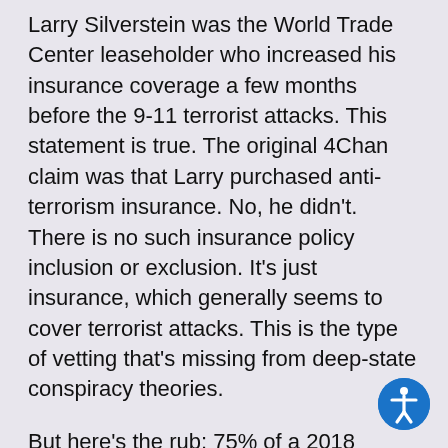Larry Silverstein was the World Trade Center leaseholder who increased his insurance coverage a few months before the 9-11 terrorist attacks. This statement is true. The original 4Chan claim was that Larry purchased anti-terrorism insurance. No, he didn't. There is no such insurance policy inclusion or exclusion. It's just insurance, which generally seems to cover terrorist attacks. This is the type of vetting that's missing from deep-state conspiracy theories.
But here's the rub: 75% of a 2018 Monmouth Poll agreed: "A group of unelected government and military officials are secretly manipulating or directing national policy." While I wholeheartedly agree, this idea doesn't conflict with my belief that scientific research is valuable, wearing masks is an example of self-respect and empathy, and fact-based news is vital to sustaining a healthy